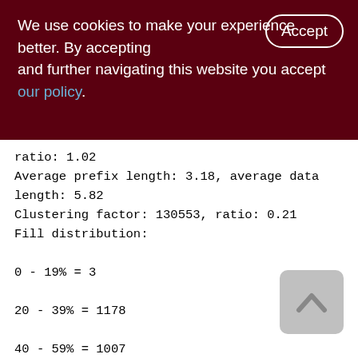We use cookies to make your experience better. By accepting and further navigating this website you accept our policy.
ratio: 1.02
Average prefix length: 3.18, average data length: 5.82
Clustering factor: 130553, ratio: 0.21
Fill distribution:
0 - 19% = 3
20 - 39% = 1178
40 - 59% = 1007
60 - 79% = 66
80 - 99% = 9

Index FK_DOC_LIST_AGENTS (2)
Root page: 2948, depth: 2, leaf buckets: